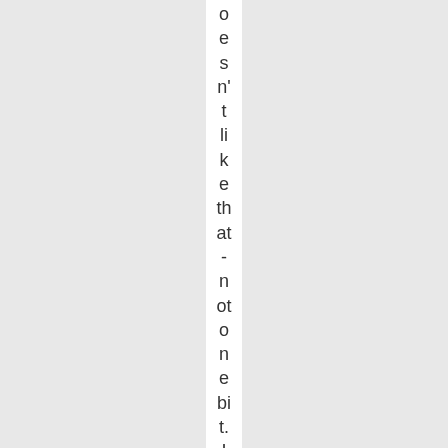doesn't like that - not one bit. I used to as u